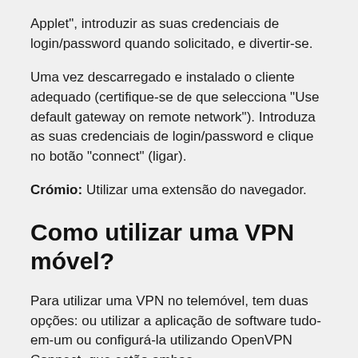Applet", introduzir as suas credenciais de login/password quando solicitado, e divertir-se.
Uma vez descarregado e instalado o cliente adequado (certifique-se de que selecciona "Use default gateway on remote network"). Introduza as suas credenciais de login/password e clique no botão "connect" (ligar).
Crómio: Utilizar uma extensão do navegador.
Como utilizar uma VPN móvel?
Para utilizar uma VPN no telemóvel, tem duas opções: ou utilizar a aplicação de software tudo-em-um ou configurá-la utilizando OpenVPN Connect, que estão ambas